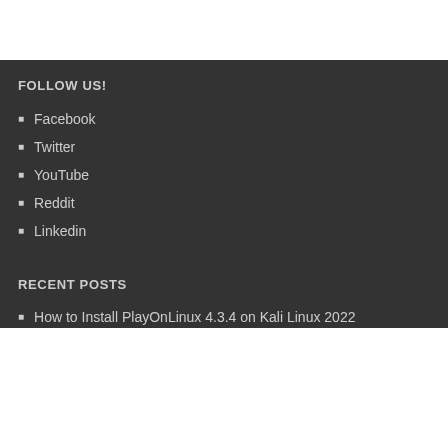FOLLOW US!
Facebook
Twitter
YouTube
Reddit
Linkedin
RECENT POSTS
How to Install PlayOnLinux 4.3.4 on Kali Linux 2022